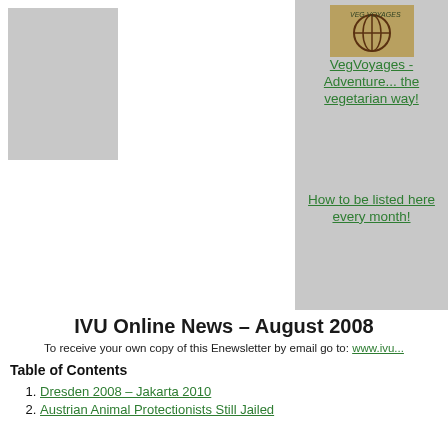[Figure (illustration): Gray placeholder image box in upper left area]
[Figure (logo): VegVoyages logo image with globe/compass icon]
VegVoyages - Adventure... the vegetarian way!
How to be listed here every month!
IVU Online News – August 2008
To receive your own copy of this Enewsletter by email go to: www.ivu...
Table of Contents
Dresden 2008 – Jakarta 2010
Austrian Animal Protectionists Still Jailed